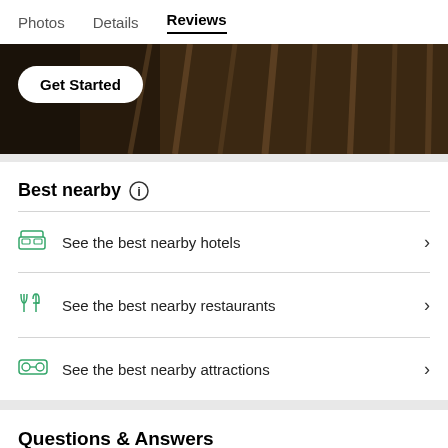Photos  Details  Reviews
[Figure (photo): Dark background image showing clothing items on hangers, with a white 'Get Started' button overlaid on the left side.]
Best nearby
See the best nearby hotels
See the best nearby restaurants
See the best nearby attractions
Questions & Answers